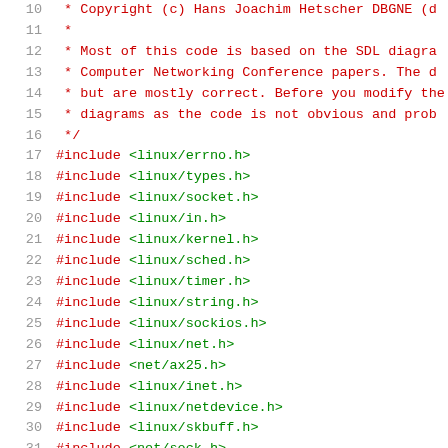Code listing showing C header includes and comment block, lines 10-31
10:  * Copyright (c) Hans Joachim Hetscher DBGNE (d...
11:  *
12:  * Most of this code is based on the SDL diagra...
13:  * Computer Networking Conference papers. The d...
14:  * but are mostly correct. Before you modify th...
15:  * diagrams as the code is not obvious and prob...
16:  */
17: #include <linux/errno.h>
18: #include <linux/types.h>
19: #include <linux/socket.h>
20: #include <linux/in.h>
21: #include <linux/kernel.h>
22: #include <linux/sched.h>
23: #include <linux/timer.h>
24: #include <linux/string.h>
25: #include <linux/sockios.h>
26: #include <linux/net.h>
27: #include <net/ax25.h>
28: #include <linux/inet.h>
29: #include <linux/netdevice.h>
30: #include <linux/skbuff.h>
31: #include <net/sock.h>